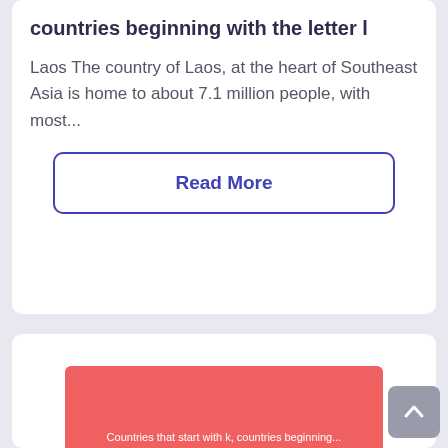countries that start with l, countries beginning with the letter l
Laos The country of Laos, at the heart of Southeast Asia is home to about 7.1 million people, with most...
Read More
[Figure (illustration): Red/coral colored banner image with text 'Countries that start with k, countries beginning...' at the bottom, partially visible card below]
[Figure (other): Back to top button with upward chevron arrow, grey rounded square button in bottom right]